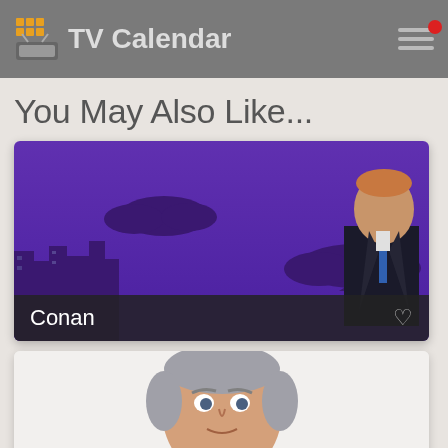TV Calendar
You May Also Like...
[Figure (photo): Conan O'Brien show promotional image: purple night sky background with crescent moon, city silhouette, clouds, Conan O'Brien in black suit standing on right side. Show title label 'Conan' at bottom left with heart icon at bottom right.]
[Figure (photo): Second TV show promotional card showing a man with grey hair, partially cropped, white background.]